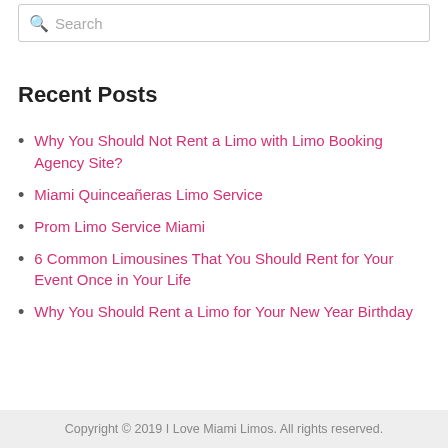Search
Recent Posts
Why You Should Not Rent a Limo with Limo Booking Agency Site?
Miami Quinceañeras Limo Service
Prom Limo Service Miami
6 Common Limousines That You Should Rent for Your Event Once in Your Life
Why You Should Rent a Limo for Your New Year Birthday
Copyright © 2019 I Love Miami Limos. All rights reserved.